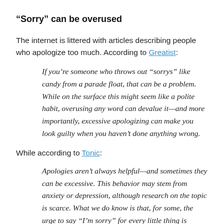“Sorry” can be overused
The internet is littered with articles describing people who apologize too much. According to Greatist:
If you’re someone who throws out “Sorrys” like candy from a parade float, that can be a problem. While on the surface this might seem like a polite habit, overusing any word can devalue it—and more importantly, excessive apologizing can make you look guilty when you haven’t done anything wrong.
While according to Tonic:
Apologies aren’t always helpful—and sometimes they can be excessive. This behavior may stem from anxiety or depression, although research on the topic is scarce. What we do know is that, for some, the urge to say “I’m sorry” for every little thing is involuntary and often has little to do